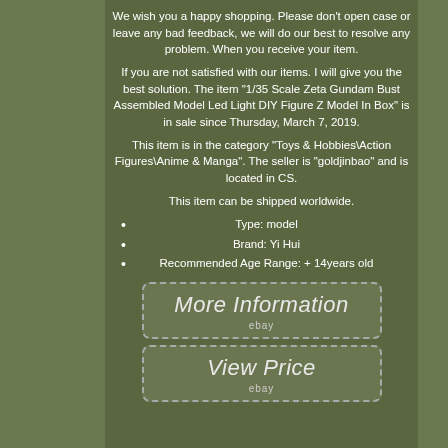We wish you a happy shopping. Please don't open case or leave any bad feedback, we will do our best to resolve any problem. When you receive your item.
If you are not satisfied with our items. I will give you the best solution. The item "1/35 Scale Zeta Gundam Bust Assembled Model Led Light DIY Figure Z Model In Box" is in sale since Thursday, March 7, 2019.
This item is in the category "Toys & Hobbies\Action Figures\Anime & Manga". The seller is "goldjinbao" and is located in CS.
This item can be shipped worldwide.
Type: model
Brand: Yi Hui
Recommended Age Range: + 14years old
[Figure (other): More Information button with dashed border and eBay logo]
[Figure (other): View Price button with dashed border and eBay logo]